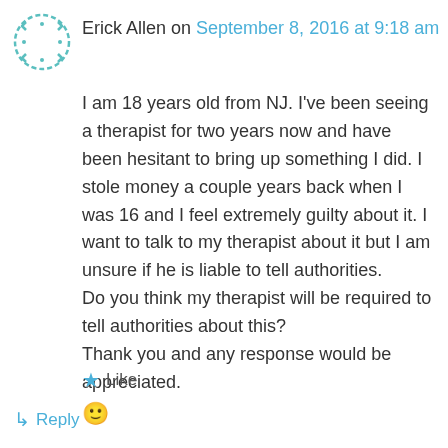[Figure (illustration): Circular avatar icon with decorative arrow/star pattern in teal/green colors]
Erick Allen on September 8, 2016 at 9:18 am
I am 18 years old from NJ. I've been seeing a therapist for two years now and have been hesitant to bring up something I did. I stole money a couple years back when I was 16 and I feel extremely guilty about it. I want to talk to my therapist about it but I am unsure if he is liable to tell authorities.
Do you think my therapist will be required to tell authorities about this?
Thank you and any response would be appreciated.
🙂
★ Like
↳ Reply